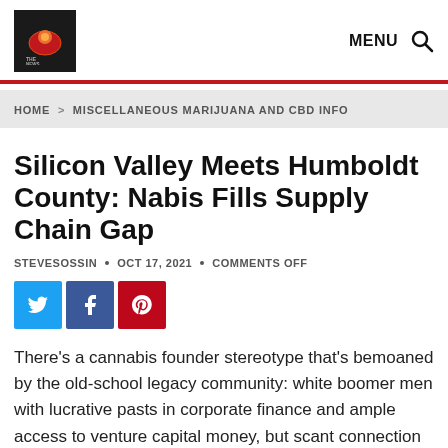THE NEWS — MENU
HOME > MISCELLANEOUS MARIJUANA AND CBD INFO
Silicon Valley Meets Humboldt County: Nabis Fills Supply Chain Gap
STEVESOSSIN • OCT 17, 2021 • COMMENTS OFF
[Figure (other): Social share buttons: Twitter (blue), Facebook (dark blue), Pinterest (red)]
There's a cannabis founder stereotype that's bemoaned by the old-school legacy community: white boomer men with lucrative pasts in corporate finance and ample access to venture capital money, but scant connection to traditional